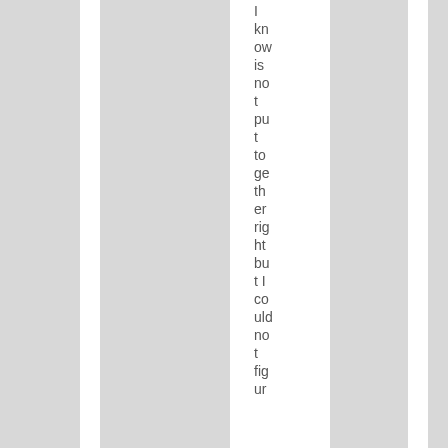I know is not put together right but I could not figure ur